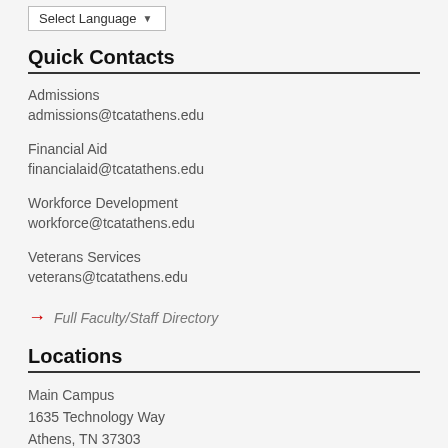Select Language
Quick Contacts
Admissions
admissions@tcatathens.edu
Financial Aid
financialaid@tcatathens.edu
Workforce Development
workforce@tcatathens.edu
Veterans Services
veterans@tcatathens.edu
→ Full Faculty/Staff Directory
Locations
Main Campus
1635 Technology Way
Athens, TN 37303